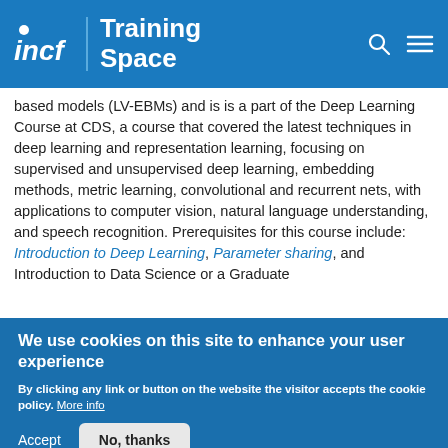INCF Training Space
based models (LV-EBMs) and is is a part of the Deep Learning Course at CDS, a course that covered the latest techniques in deep learning and representation learning, focusing on supervised and unsupervised deep learning, embedding methods, metric learning, convolutional and recurrent nets, with applications to computer vision, natural language understanding, and speech recognition. Prerequisites for this course include: Introduction to Deep Learning, Parameter sharing, and Introduction to Data Science or a Graduate
We use cookies on this site to enhance your user experience
By clicking any link or button on the website the visitor accepts the cookie policy. More info
Accept
No, thanks